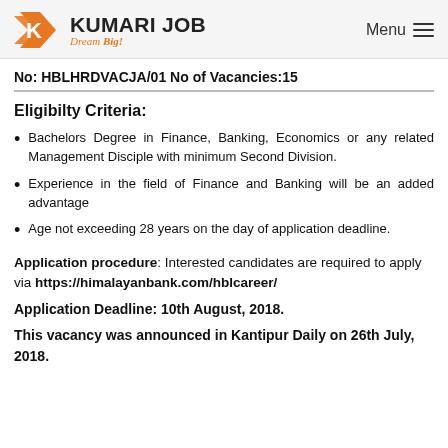KUMARI JOB Dream Big! Menu
No: HBLHRDVACJA/01 No of Vacancies:15
Eligibilty Criteria:
Bachelors Degree in Finance, Banking, Economics or any related Management Disciple with minimum Second Division.
Experience in the field of Finance and Banking will be an added advantage
Age not exceeding 28 years on the day of application deadline.
Application procedure: Interested candidates are required to apply via https://himalayanbank.com/hblcareer/
Application Deadline: 10th August, 2018.
This vacancy was announced in Kantipur Daily on 26th July, 2018.